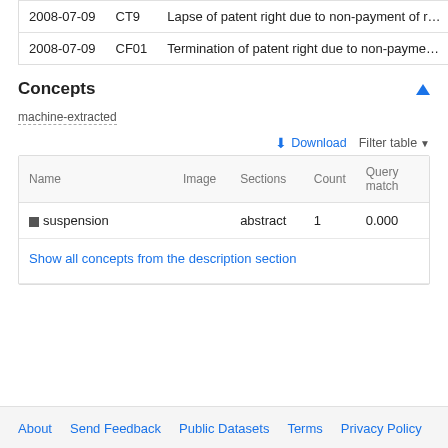| Date | Code | Description |
| --- | --- | --- |
| 2008-07-09 | CT9 | Lapse of patent right due to non-payment of r… |
| 2008-07-09 | CF01 | Termination of patent right due to non-payme… |
Concepts
machine-extracted
| Name | Image | Sections | Count | Query match |
| --- | --- | --- | --- | --- |
| suspension |  | abstract | 1 | 0.000 |
Show all concepts from the description section
About   Send Feedback   Public Datasets   Terms   Privacy Policy